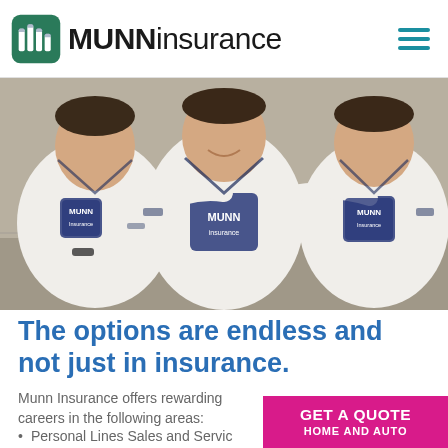MUNN insurance
[Figure (photo): Three men wearing white v-neck jerseys with Munn Insurance logo printed on the front, posing together outdoors]
The options are endless and not just in insurance.
Munn Insurance offers rewarding careers in the following areas:
Personal Lines Sales and Servic…